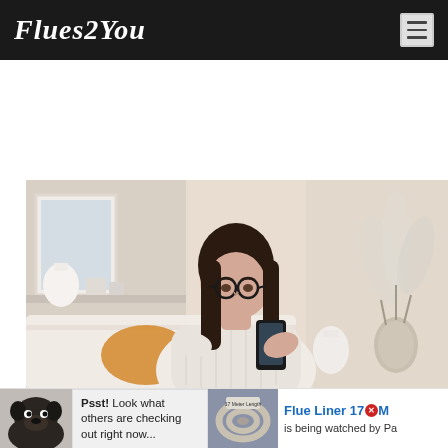Flues2You
[Figure (photo): Young woman with long dark hair and glasses sitting on a couch, looking at her smartphone, wearing a cream knit sweater, in a cozy home interior with decorative vases and pampas grass]
[Figure (photo): Black and white photo of a pug dog]
Psst! Look what others are checking out right now...
[Figure (photo): Flue liner coiled product image]
Flue Liner 17M is being watched by Pa